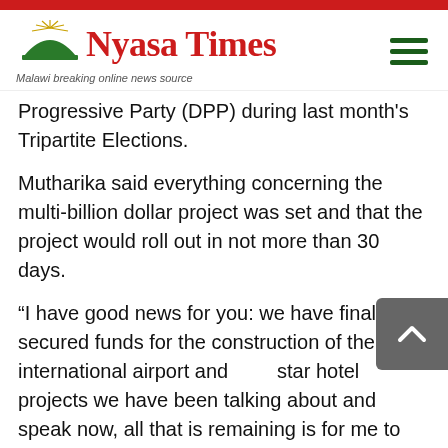Nyasa Times — Malawi breaking online news source
Progressive Party (DPP) during last month's Tripartite Elections.
Mutharika said everything concerning the multi-billion dollar project was set and that the project would roll out in not more than 30 days.
“I have good news for you: we have finally secured funds for the construction of the international airport and [five]-star hotel projects we have been talking about and as I speak now, all that is remaining is for me to meet the president of a bank in Egypt to seal the deal,” the President  disclosed.
He said once the two parties sign the contract the project would take off in the less than 30 days and that in the next